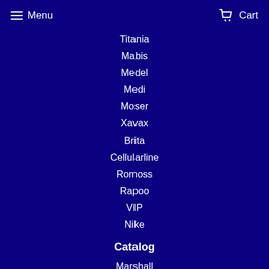Menu  Cart
Titania
Mabis
Medel
Medi
Moser
Xavax
Brita
Cellularline
Romoss
Rapoo
VIP
Nike
Catalog
Marshall
Aukey
ViewSonic